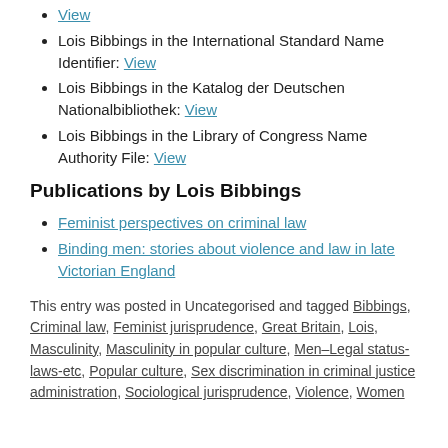View
Lois Bibbings in the International Standard Name Identifier: View
Lois Bibbings in the Katalog der Deutschen Nationalbibliothek: View
Lois Bibbings in the Library of Congress Name Authority File: View
Publications by Lois Bibbings
Feminist perspectives on criminal law
Binding men: stories about violence and law in late Victorian England
This entry was posted in Uncategorised and tagged Bibbings, Criminal law, Feminist jurisprudence, Great Britain, Lois, Masculinity, Masculinity in popular culture, Men–Legal status-laws-etc, Popular culture, Sex discrimination in criminal justice administration, Sociological jurisprudence, Violence, Women